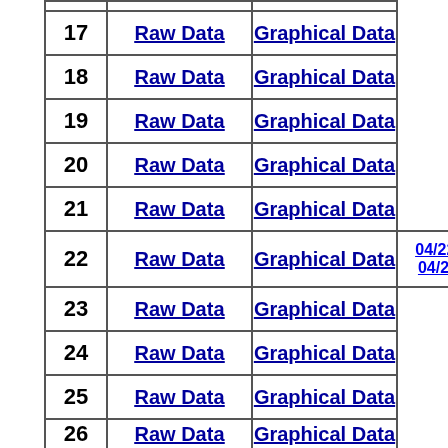| Week | Raw Data | Graphical Data | Date Range |
| --- | --- | --- | --- |
| 17 | Raw Data | Graphical Data |  |
| 18 | Raw Data | Graphical Data |  |
| 19 | Raw Data | Graphical Data |  |
| 20 | Raw Data | Graphical Data |  |
| 21 | Raw Data | Graphical Data |  |
| 22 | Raw Data | Graphical Data | 04/22-04/28 |
| 23 | Raw Data | Graphical Data |  |
| 24 | Raw Data | Graphical Data |  |
| 25 | Raw Data | Graphical Data |  |
| 26 | Raw Data | Graphical Data |  |